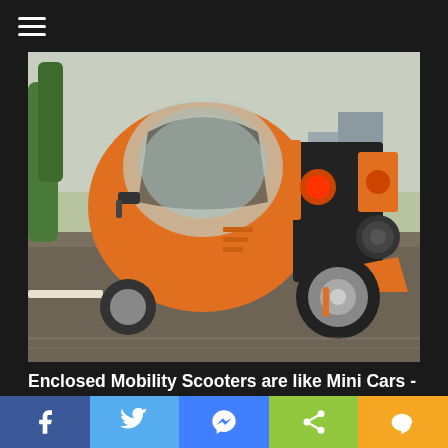[Figure (photo): An orange enclosed mobility scooter / mini car with three wheels, photographed from the rear-right angle while driving on a road. The vehicle has a bubble-shaped orange body with a large transparent canopy, tail lights, and exposed rear wheel with suspension. Trees and a building are visible in the blurred background.]
Enclosed Mobility Scooters are like Mini Cars - Take a Look at the Prices
[Figure (infographic): Social sharing bar at the bottom with five buttons: Facebook (blue), Twitter (light blue), Messenger (blue), Share (green), and LINE (orange/yellow), each showing the respective icon in white.]